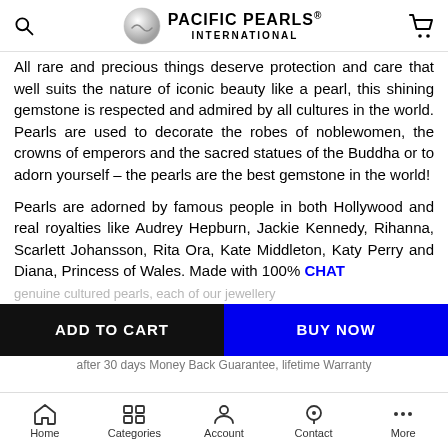PACIFIC PEARLS® INTERNATIONAL
All rare and precious things deserve protection and care that well suits the nature of iconic beauty like a pearl, this shining gemstone is respected and admired by all cultures in the world. Pearls are used to decorate the robes of noblewomen, the crowns of emperors and the sacred statues of the Buddha or to adorn yourself – the pearls are the best gemstone in the world!
Pearls are adorned by famous people in both Hollywood and real royalties like Audrey Hepburn, Jackie Kennedy, Rihanna, Scarlett Johansson, Rita Ora, Kate Middleton, Katy Perry and Diana, Princess of Wales. Made with 100% genuine cultured pearls, each of our jewellery...
Home  Categories  Account  Contact  More